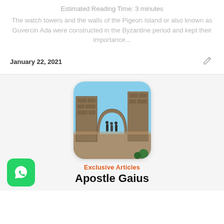Estimated Reading Time: 3 minutes
The watch towers and the walls of the Pigeon Island or also known as Guvercin Ada were constructed in the Byzantine period and kept their importance...
January 22, 2021
[Figure (photo): Ancient stone archway/gate ruins with people walking through, blue sky visible, rounded-corner image thumbnail]
Exclusive Articles
Apostle Gaius
[Figure (logo): WhatsApp green rounded square logo icon]